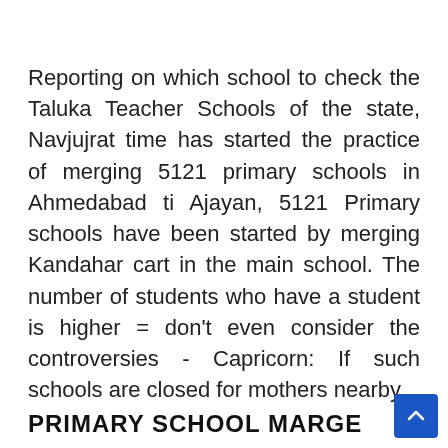Reporting on which school to check the Taluka Teacher Schools of the state, Navjujrat time has started the practice of merging 5121 primary schools in Ahmedabad ti Ajayan, 5121 Primary schools have been started by merging Kandahar cart in the main school. The number of students who have a student is higher = don't even consider the controversies - Capricorn: If such schools are closed for mothers nearby
PRIMARY SCHOOL MARGE BABATE NIYAMAR